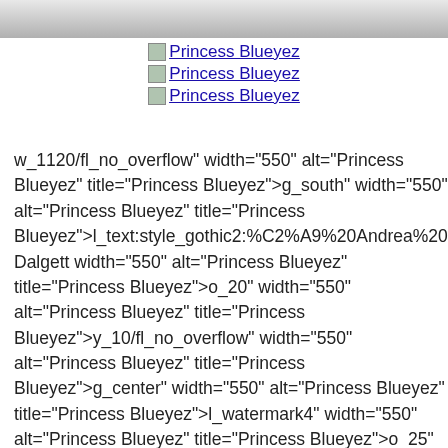[Figure (photo): Partial photo of a person, cropped at top of page]
🖼 Princess Blueyez
🖼 Princess Blueyez
🖼 Princess Blueyez
w_1120/fl_no_overflow" width="550" alt="Princess Blueyez" title="Princess Blueyez">g_south" width="550" alt="Princess Blueyez" title="Princess Blueyez">l_text:style_gothic2:%C2%A9%20Andrea%20Dalgett width="550" alt="Princess Blueyez" title="Princess Blueyez">o_20" width="550" alt="Princess Blueyez" title="Princess Blueyez">y_10/fl_no_overflow" width="550" alt="Princess Blueyez" title="Princess Blueyez">g_center" width="550" alt="Princess Blueyez" title="Princess Blueyez">l_watermark4" width="550" alt="Princess Blueyez" title="Princess Blueyez">o_25" width="550" alt="Princess Blueyez" title="Princess Blueyez">